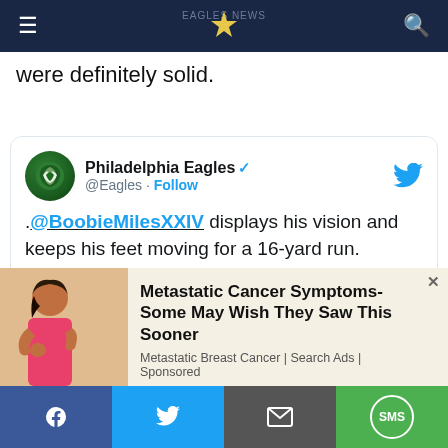Eagles news site navigation bar
were definitely solid.
[Figure (screenshot): Embedded tweet from Philadelphia Eagles (@Eagles) with verified badge. Tweet text: .@BoobieMilesXXIV displays his vision and keeps his feet moving for a 16-yard run. #PHIvsJAX | #FlyEaglesFly. Includes a football field image at the bottom.]
[Figure (screenshot): Advertisement overlay: Metastatic Cancer Symptoms- Some May Wish They Saw This Sooner. Metastatic Breast Cancer | Search Ads | Sponsored. Shows a woman touching her chest.]
Social share bar: Facebook, Twitter, Email, SMS